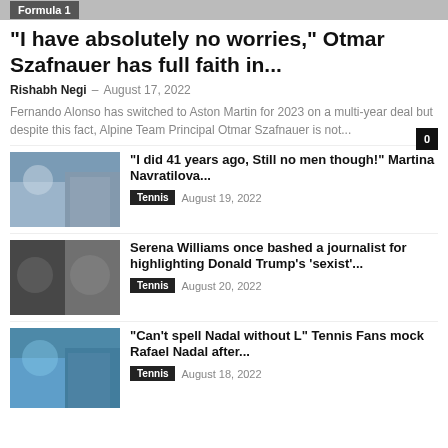Formula 1
“I have absolutely no worries,” Otmar Szafnauer has full faith in...
Rishabh Negi – August 17, 2022
Fernando Alonso has switched to Aston Martin for 2023 on a multi-year deal but despite this fact, Alpine Team Principal Otmar Szafnauer is not...
“I did 41 years ago, Still no men though!” Martina Navratilova...
Tennis   August 19, 2022
Serena Williams once bashed a journalist for highlighting Donald Trump’s ‘sexist’...
Tennis   August 20, 2022
“Can’t spell Nadal without L” Tennis Fans mock Rafael Nadal after...
Tennis   August 18, 2022